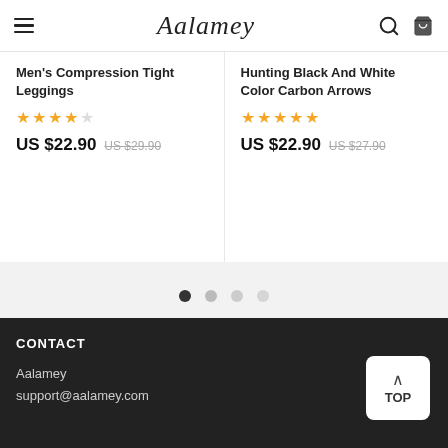Aalamey
Men's Compression Tight Leggings
★★★★☆
US $22.90  US $29.90
Hunting Black And White Color Carbon Arrows
★★★★★
US $22.90  US $27.90
[Figure (other): Pagination dots: 4 dots, first one active (dark), rest light grey]
CONTACT
Aalamey
support@aalamey.com